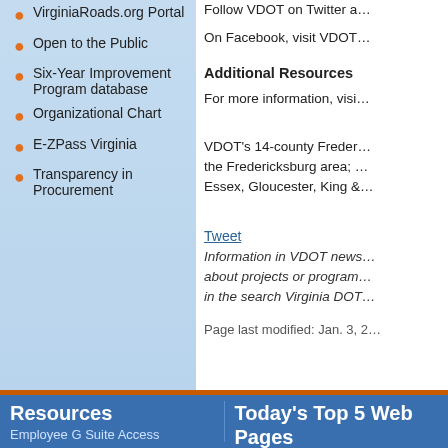VirginiaRoads.org Portal
Open to the Public
Six-Year Improvement Program database
Organizational Chart
E-ZPass Virginia
Transparency in Procurement
Follow VDOT on Twitter a…
On Facebook, visit VDOT…
Additional Resources
For more information, visi…
VDOT's 14-county Freder… the Fredericksburg area; … Essex, Gloucester, King &…
Tweet
Information in VDOT news… about projects or program… in the search Virginia DOT…
Page last modified: Jan. 3, 2…
Resources
Today's Top 5 Web Pages
Employee G Suite Access
Contact us